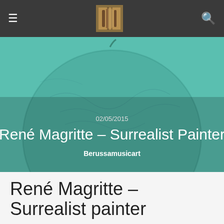≡  [logo]  🔍
[Figure (photo): Teal/green textured hero banner with Magritte-like surrealist apple imagery]
02/05/2015
René Magritte – Surrealist Painter
Berussamusicart
René Magritte – Surrealist painter
[arve url="https://www.youtube.com/watch?v=x43sUpu83lc" mode="lazyload" thumbnail="27799" title="René Magritte – Surrealist painter" description="René Magritte , Surrealist painter , Belgian